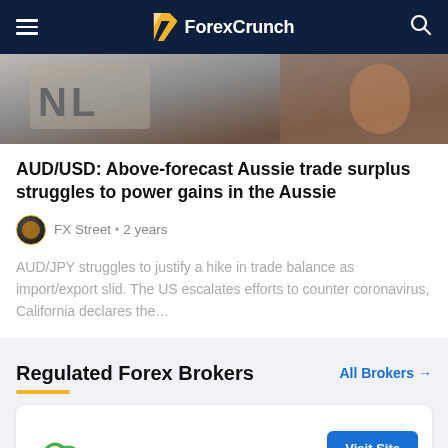ForexCrunch
[Figure (photo): Photo of a person wearing a shirt with 'NL' text, partially visible, warm tones]
AUD/USD: Above-forecast Aussie trade surplus struggles to power gains in the Aussie
FX Street • 2 years
AUD/JPY struggles to justify a hike in trade balance as import/export slid. The US escalates efforts to counter coronavirus, California declares the…
Regulated Forex Brokers
All Brokers →
[Figure (logo): Broker logo area partially visible at bottom]